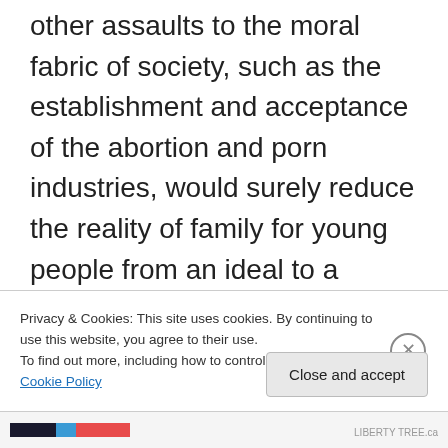other assaults to the moral fabric of society, such as the establishment and acceptance of the abortion and porn industries, would surely reduce the reality of family for young people from an ideal to a consequence of unsafe sex. Homosexuality would be projected as fun and acceptable and laws would be passed to protect its sanctity, with dissent thereof to be punishable by federal and state laws. I would produce, introduce, and maintain harmful and even deadly sexually transmitted diseases in order to promote condoms, reinforce birth control, and contribute to population control through abortion.
Privacy & Cookies: This site uses cookies. By continuing to use this website, you agree to their use.
To find out more, including how to control cookies, see here: Cookie Policy